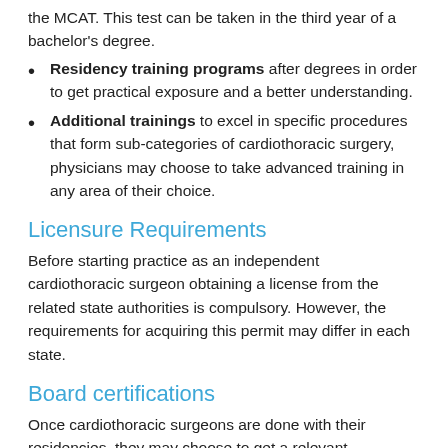the MCAT. This test can be taken in the third year of a bachelor's degree.
Residency training programs after degrees in order to get practical exposure and a better understanding.
Additional trainings to excel in specific procedures that form sub-categories of cardiothoracic surgery, physicians may choose to take advanced training in any area of their choice.
Licensure Requirements
Before starting practice as an independent cardiothoracic surgeon obtaining a license from the related state authorities is compulsory. However, the requirements for acquiring this permit may differ in each state.
Board certifications
Once cardiothoracic surgeons are done with their residencies, they may choose to get a relevant certification in their area of